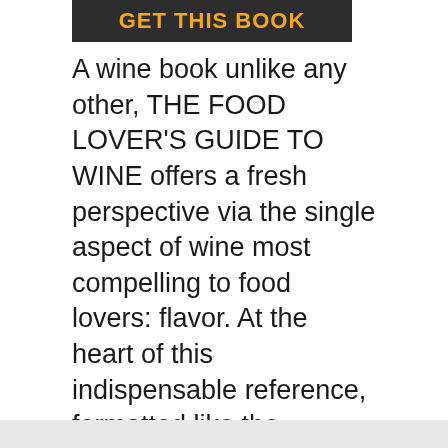[Figure (other): Dark gray header banner with orange/yellow bold text partially visible, appears to show 'GET THIS BOOK' or similar title]
A wine book unlike any other, THE FOOD LOVER'S GUIDE TO WINE offers a fresh perspective via the single aspect of wine most compelling to food lovers: flavor. At the heart of this indispensable reference, formatted like the authors' two previous bestsellers The Flavor Bible and What to Drink with What You Eat, is an encyclopedic A-to-Z guide profiling hundreds of different wines by their essential characteristics-from body and intensity to distinguishing flavors, from suggested serving temperatures and ideal food